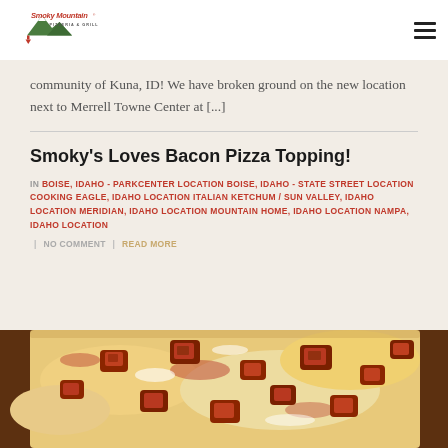[Figure (logo): Smoky Mountain Pizzeria & Grill logo with mountain graphic in red and green]
community of Kuna, ID! We have broken ground on the new location next to Merrell Towne Center at [...]
Smoky's Loves Bacon Pizza Topping!
IN BOISE, IDAHO - PARKCENTER LOCATION BOISE, IDAHO - STATE STREET LOCATION COOKING EAGLE, IDAHO LOCATION ITALIAN KETCHUM / SUN VALLEY, IDAHO LOCATION MERIDIAN, IDAHO LOCATION MOUNTAIN HOME, IDAHO LOCATION NAMPA, IDAHO LOCATION | NO COMMENT | READ MORE
[Figure (photo): Close-up photo of bacon pizza topping with chunky bacon pieces and melted cheese]